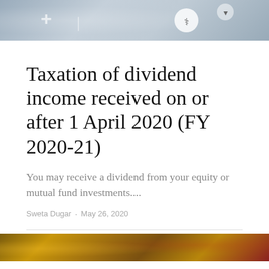[Figure (photo): Top banner image with medical/health icons including crosses and circles on a grey/blue background]
Taxation of dividend income received on or after 1 April 2020 (FY 2020-21)
You may receive a dividend from your equity or mutual fund investments....
Sweta Dugar · May 26, 2020
[Figure (photo): Bottom banner image showing gold jewelry and ornaments with red fabric background]